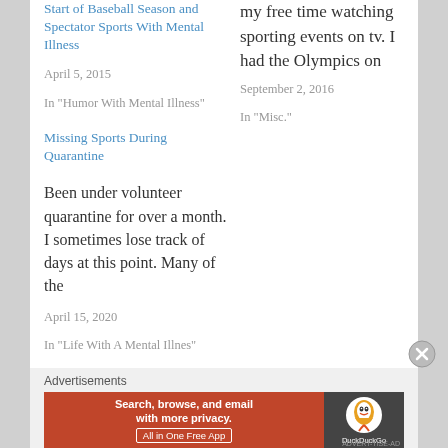Start of Baseball Season and Spectator Sports With Mental Illness
April 5, 2015
In "Humor With Mental Illness"
Missing Sports During Quarantine
Been under volunteer quarantine for over a month.  I sometimes lose track of days at this point.  Many of the
April 15, 2020
In "Life With A Mental Illnes"
my free time watching sporting events on tv.  I had the Olympics on
September 2, 2016
In "Misc."
Advertisements
[Figure (other): DuckDuckGo advertisement banner: orange left section with text 'Search, browse, and email with more privacy. All in One Free App', dark right section with DuckDuckGo duck logo and brand name]